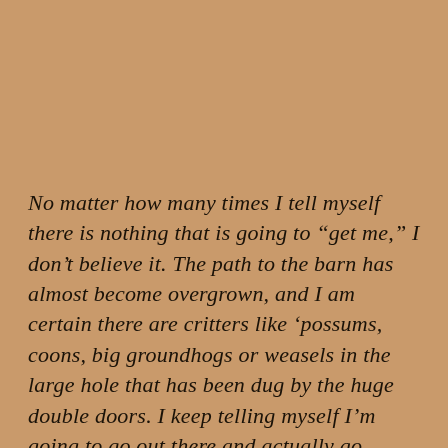No matter how many times I tell myself there is nothing that is going to “get me,” I don’t believe it. The path to the barn has almost become overgrown, and I am certain there are critters like ‘possums, coons, big groundhogs or weasels in the large hole that has been dug by the huge double doors. I keep telling myself I’m going to go out there and actually go inside and clean it (not sure why), but the months turn into years, and truthfully, I’m a big scaredy cat to think of even setting foot inside. I can conjure up rattlesnakes, copperheads, rats, bobcats and